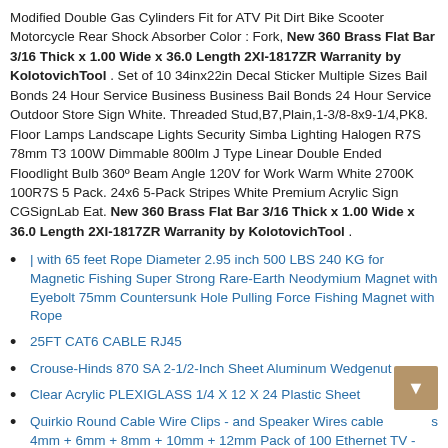Modified Double Gas Cylinders Fit for ATV Pit Dirt Bike Scooter Motorcycle Rear Shock Absorber Color : Fork, New 360 Brass Flat Bar 3/16 Thick x 1.00 Wide x 36.0 Length 2XI-1817ZR Warranity by KolotovichTool . Set of 10 34inx22in Decal Sticker Multiple Sizes Bail Bonds 24 Hour Service Business Business Bail Bonds 24 Hour Service Outdoor Store Sign White. Threaded Stud,B7,Plain,1-3/8-8x9-1/4,PK8. Floor Lamps Landscape Lights Security Simba Lighting Halogen R7S 78mm T3 100W Dimmable 800lm J Type Linear Double Ended Floodlight Bulb 360º Beam Angle 120V for Work Warm White 2700K 100R7S 5 Pack. 24x6 5-Pack Stripes White Premium Acrylic Sign CGSignLab Eat. New 360 Brass Flat Bar 3/16 Thick x 1.00 Wide x 36.0 Length 2XI-1817ZR Warranity by KolotovichTool .
| with 65 feet Rope Diameter 2.95 inch 500 LBS 240 KG for Magnetic Fishing Super Strong Rare-Earth Neodymium Magnet with Eyebolt 75mm Countersunk Hole Pulling Force Fishing Magnet with Rope
25FT CAT6 CABLE RJ45
Crouse-Hinds 870 SA 2-1/2-Inch Sheet Aluminum Wedgenut
Clear Acrylic PLEXIGLASS 1/4 X 12 X 24 Plastic Sheet
Quirkio Round Cable Wire Clips - and Speaker Wires cable 4mm + 6mm + 8mm + 10mm + 12mm Pack of 100 Ethernet TV -